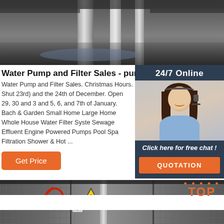[Figure (photo): Industrial setting with metal pipes/columns and wet reflective floor, top portion of page]
Water Pump and Filter Sales - pumpsonline.co.n
Water Pump and Filter Sales. Christmas Hours. Shut 23rd) and the 24th of December. Open 29, 30 and 3 and 5, 6, and 7th of January. Bach & Garden Small Home Large Home Whole House Water Filter Syste Sewage Effluent Engine Powered Pumps Pool Spa Filtration Shower & Hot ...
[Figure (photo): Customer service woman wearing headset with 24/7 Online label and chat/quotation widget]
[Figure (photo): Industrial gate/fence scene at bottom of page with warning sign and TOP logo overlay]